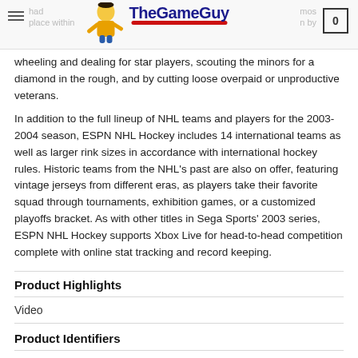TheGameGuy
wheeling and dealing for star players, scouting the minors for a diamond in the rough, and by cutting loose overpaid or unproductive veterans.
In addition to the full lineup of NHL teams and players for the 2003-2004 season, ESPN NHL Hockey includes 14 international teams as well as larger rink sizes in accordance with international hockey rules. Historic teams from the NHL's past are also on offer, featuring vintage jerseys from different eras, as players take their favorite squad through tournaments, exhibition games, or a customized playoffs bracket. As with other titles in Sega Sports' 2003 series, ESPN NHL Hockey supports Xbox Live for head-to-head competition complete with online stat tracking and record keeping.
Product Highlights
Video
Product Identifiers
|  |  |
| --- | --- |
| Publisher | Sega of America, Inc. |
| Game | ESPN NHL Hockey |
| MPN | 5060004762040 |
| UPC | 010086640380, 5060004762040 |